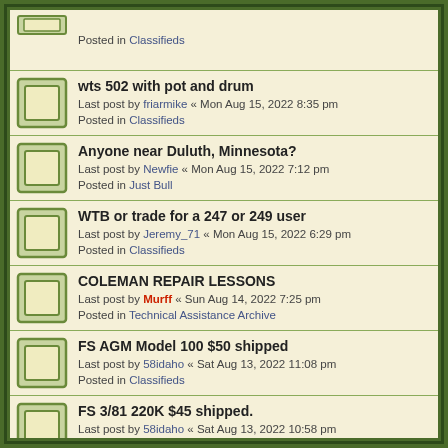Posted in Classifieds
wts 502 with pot and drum
Last post by friarmike « Mon Aug 15, 2022 8:35 pm
Posted in Classifieds
Anyone near Duluth, Minnesota?
Last post by Newfie « Mon Aug 15, 2022 7:12 pm
Posted in Just Bull
WTB or trade for a 247 or 249 user
Last post by Jeremy_71 « Mon Aug 15, 2022 6:29 pm
Posted in Classifieds
COLEMAN REPAIR LESSONS
Last post by Murff « Sun Aug 14, 2022 7:25 pm
Posted in Technical Assistance Archive
FS AGM Model 100 $50 shipped
Last post by 58idaho « Sat Aug 13, 2022 11:08 pm
Posted in Classifieds
FS 3/81 220K $45 shipped.
Last post by 58idaho « Sat Aug 13, 2022 10:58 pm
Posted in Classifieds
Radiant for propane heater fs
Last post by major_man « Sat Aug 13, 2022 9:13 pm
Posted in Classifieds
237 for sale
Last post by ...